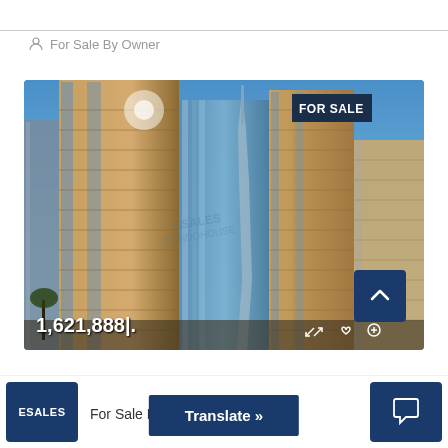For Sale By Owner
[Figure (photo): Upward-angle photograph of tall modern skyscrapers including a glass tower with Burj Khalifa visible in the background, Dubai skyline, clear blue sky. A 'FOR SALE' badge appears in the top right corner of the image. Price overlay '1,621,888|.' at bottom left.]
For Sale By Owner
Translate »